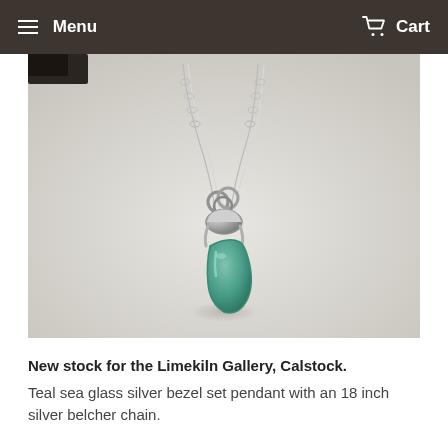Menu   Cart
[Figure (photo): Close-up photograph of a teal sea glass silver bezel set pendant hanging on a silver chain, against a light grey background.]
New stock for the Limekiln Gallery, Calstock.
Teal sea glass silver bezel set pendant with an 18 inch silver belcher chain.